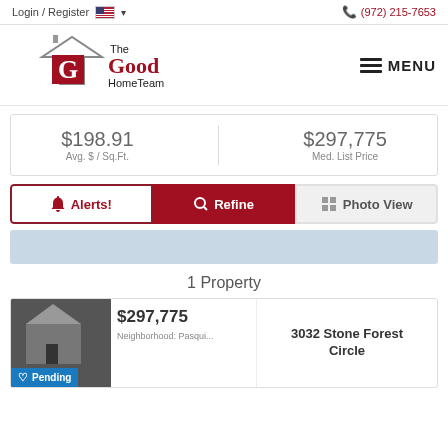Login / Register  (972) 215-7653
[Figure (logo): The Good HomeTeam logo with house icon and red G]
$198.91 Avg. $ / Sq.Ft.   $297,775 Med. List Price
Alerts! Refine Photo View
[Figure (other): Map/search bar placeholder]
1 Property
Pending  $297,775  Neighborhood: Pasqui...  3032 Stone Forest Circle